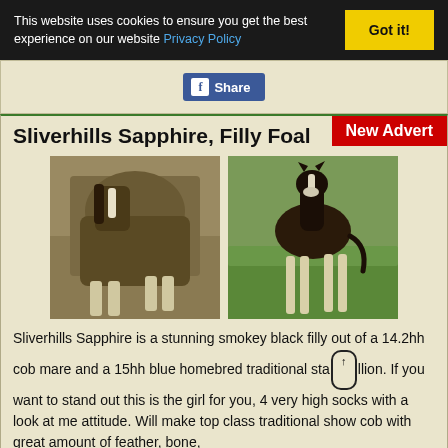This website uses cookies to ensure you get the best experience on our website Privacy Policy  Got it!
[Figure (screenshot): Facebook Share button]
New Advert
Sliverhills Sapphire, Filly Foal
[Figure (photo): Two photos of Sliverhills Sapphire, a smokey black filly foal — one showing mare and foal together, one showing the foal standing alone on grass]
Sliverhills Sapphire is a stunning smokey black filly out of a 14.2hh cob mare and a 15hh blue homebred traditional stallion. If you want to stand out this is the girl for you, 4 very high socks with a look at me attitude. Will make top class traditional show cob with great amount of feather, bone,